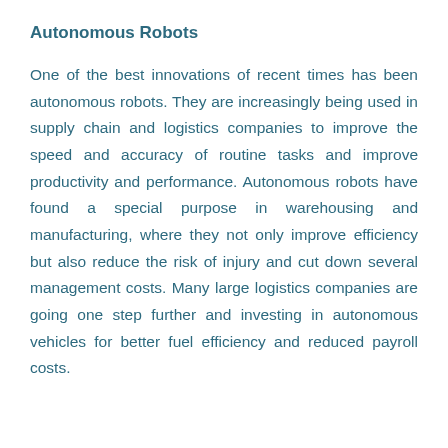Autonomous Robots
One of the best innovations of recent times has been autonomous robots. They are increasingly being used in supply chain and logistics companies to improve the speed and accuracy of routine tasks and improve productivity and performance. Autonomous robots have found a special purpose in warehousing and manufacturing, where they not only improve efficiency but also reduce the risk of injury and cut down several management costs. Many large logistics companies are going one step further and investing in autonomous vehicles for better fuel efficiency and reduced payroll costs.